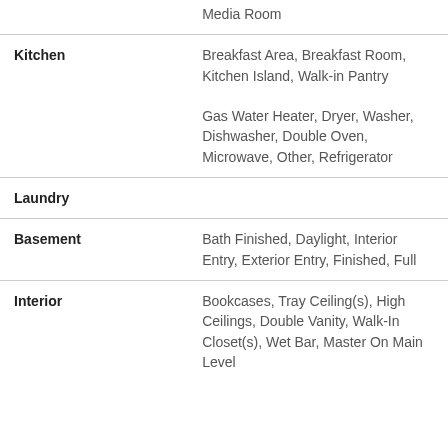| Category | Details |
| --- | --- |
|  | Media Room |
| Kitchen | Breakfast Area, Breakfast Room, Kitchen Island, Walk-in Pantry
Gas Water Heater, Dryer, Washer, Dishwasher, Double Oven, Microwave, Other, Refrigerator |
| Laundry |  |
| Basement | Bath Finished, Daylight, Interior Entry, Exterior Entry, Finished, Full |
| Interior | Bookcases, Tray Ceiling(s), High Ceilings, Double Vanity, Walk-In Closet(s), Wet Bar, Master On Main Level |